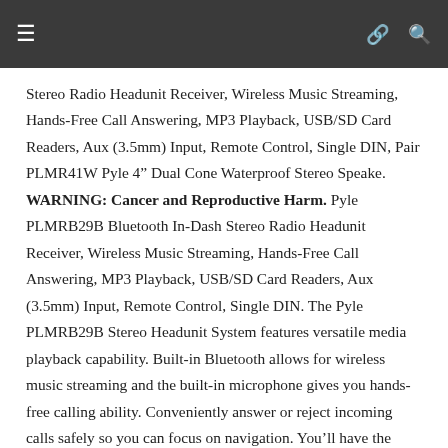≡  ∞  🔍
Stereo Radio Headunit Receiver, Wireless Music Streaming, Hands-Free Call Answering, MP3 Playback, USB/SD Card Readers, Aux (3.5mm) Input, Remote Control, Single DIN, Pair PLMR41W Pyle 4″ Dual Cone Waterproof Stereo Speake. WARNING: Cancer and Reproductive Harm. Pyle PLMRB29B Bluetooth In-Dash Stereo Radio Headunit Receiver, Wireless Music Streaming, Hands-Free Call Answering, MP3 Playback, USB/SD Card Readers, Aux (3.5mm) Input, Remote Control, Single DIN. The Pyle PLMRB29B Stereo Headunit System features versatile media playback capability. Built-in Bluetooth allows for wireless music streaming and the built-in microphone gives you hands-free calling ability. Conveniently answer or reject incoming calls safely so you can focus on navigation. You'll have the ability to connect and stream audio from all of your favorite devices like smartphones, tablets, MP3 players, etc. Digital audio file support allows you to stream your MP3 files — while ID3 tag